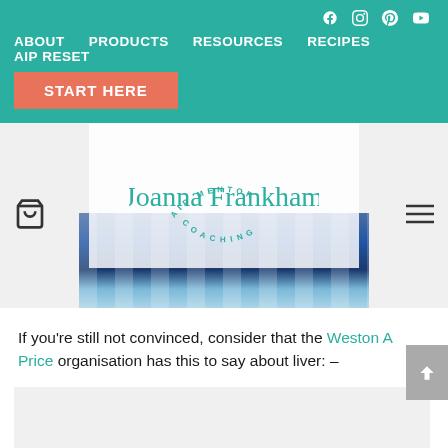Navigation bar with ABOUT, PRODUCTS, RESOURCES, RECIPES, AIP RESET links and social icons
[Figure (logo): Joanna Frankham AIP Mentor Coaching logo with cursive script on semi-transparent white overlay, over a photo of blue woven textiles]
If you’re still not convinced, consider that the Weston A Price organisation has this to say about liver: –